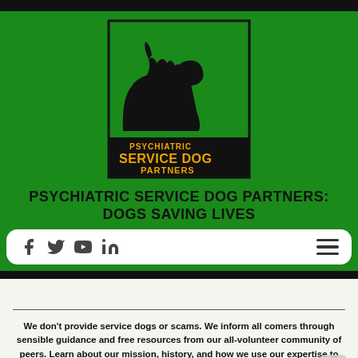[Figure (logo): Psychiatric Service Dog Partners logo: black silhouette of dog and person face-to-face on green background, with text 'PSYCHIATRIC SERVICE DOG PARTNERS' in yellow]
PSYCHIATRIC SERVICE DOG PARTNERS: DOGS SAVING LIVES
[Figure (screenshot): Navigation bar with social media icons (Facebook, Twitter, YouTube, LinkedIn) on the left and hamburger menu on the right, on white rounded rectangle background]
We don't provide service dogs or scams. We inform all comers through sensible guidance and free resources from our all-volunteer community of peers. Learn about our mission, history, and how we use our expertise to help.